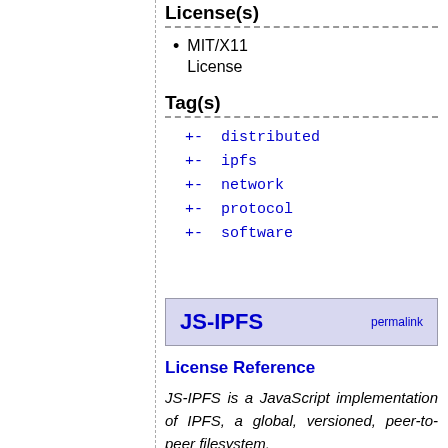License(s)
MIT/X11 License
Tag(s)
+- distributed
+- ipfs
+- network
+- protocol
+- software
JS-IPFS
License Reference
JS-IPFS is a JavaScript implementation of IPFS, a global, versioned, peer-to-peer filesystem.
License(s)